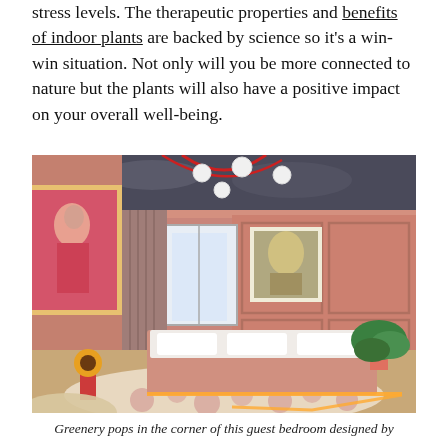stress levels. The therapeutic properties and benefits of indoor plants are backed by science so it's a win-win situation. Not only will you be more connected to nature but the plants will also have a positive impact on your overall well-being.
[Figure (photo): A pink-toned guest bedroom with ornate paneled walls, a low platform bed with white bedding and pink duvet, LED underlighting on the bed frame and floor, a large figurative artwork on the left wall, a classical painting in a gilded frame on the far wall, heavy dark curtains, a patterned circular rug, potted tropical plants in the corner, and an elaborate chandelier with globe lights and red cord on the ceiling.]
Greenery pops in the corner of this guest bedroom designed by